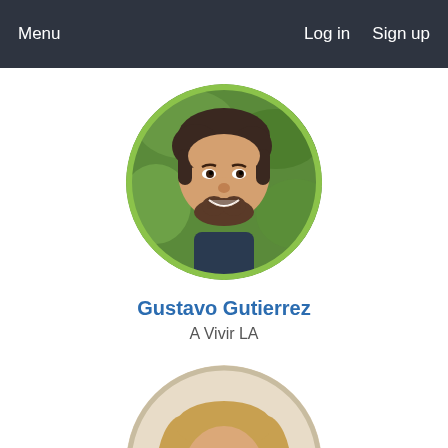Menu   Log in   Sign up
[Figure (photo): Circular profile photo of Gustavo Gutierrez, a man with dark hair and beard, smiling outdoors with green foliage background. Photo has a green border.]
Gustavo Gutierrez
A Vivir LA
[Figure (photo): Circular profile photo of a woman with long blonde/light brown hair, partially visible, cropped at bottom of page. Photo has a beige/light border.]